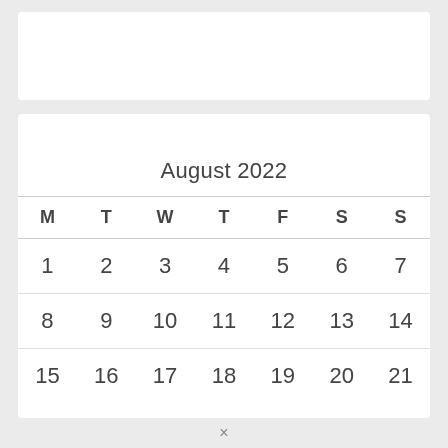August 2022
| M | T | W | T | F | S | S |
| --- | --- | --- | --- | --- | --- | --- |
| 1 | 2 | 3 | 4 | 5 | 6 | 7 |
| 8 | 9 | 10 | 11 | 12 | 13 | 14 |
| 15 | 16 | 17 | 18 | 19 | 20 | 21 |